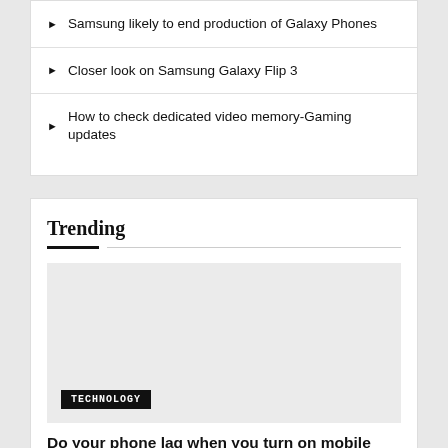Samsung likely to end production of Galaxy Phones
Closer look on Samsung Galaxy Flip 3
How to check dedicated video memory-Gaming updates
Trending
[Figure (photo): Large image placeholder with light gray background, TECHNOLOGY badge in bottom left corner]
Do your phone lag when you turn on mobile data?